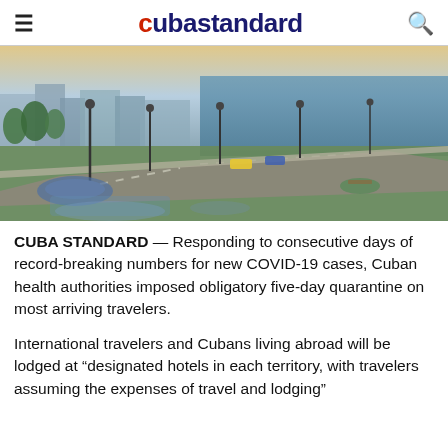cubastandard
[Figure (photo): Aerial or elevated view of the Havana Malecon waterfront boulevard with streetlights, green areas, and the sea in the background under a sunset sky.]
CUBA STANDARD — Responding to consecutive days of record-breaking numbers for new COVID-19 cases, Cuban health authorities imposed obligatory five-day quarantine on most arriving travelers.
International travelers and Cubans living abroad will be lodged at "designated hotels in each territory, with travelers assuming the expenses of travel and lodging"